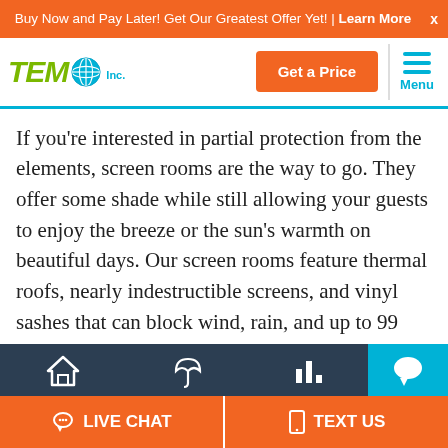Buy Now and Pay Later! Get Our Greatest Offer Yet! | Learn More
[Figure (logo): TEMO Inc. logo with globe icon]
If you're interested in partial protection from the elements, screen rooms are the way to go. They offer some shade while still allowing your guests to enjoy the breeze or the sun's warmth on beautiful days. Our screen rooms feature thermal roofs, nearly indestructible screens, and vinyl sashes that can block wind, rain, and up to 99 percent of UV rays.
LIVE CHAT   TEXT US